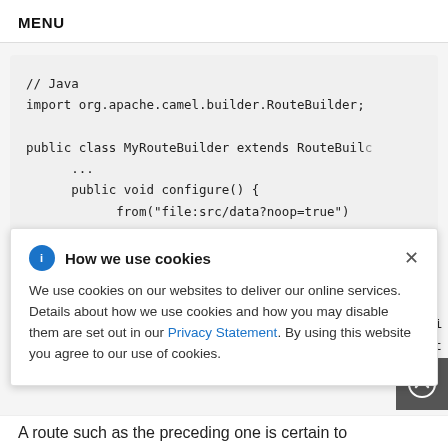MENU
[Figure (screenshot): Code block showing Java snippet: // Java import org.apache.camel.builder.RouteBuilder; public class MyRouteBuilder extends RouteBuilder { ... public void configure() { from("file:src/data?noop=true")]
How we use cookies
We use cookies on our websites to deliver our online services. Details about how we use cookies and how you may disable them are set out in our Privacy Statement. By using this website you agree to our use of cookies.
A route such as the preceding one is certain to